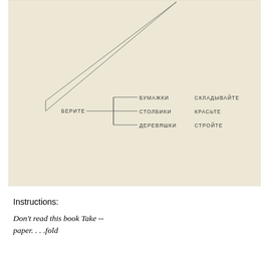[Figure (schematic): A diagram on aged yellowish paper showing a large triangle drawn with thin lines in the upper-left portion. On the right side of the diagram, a branching tree structure shows: 'БЕРИТЕ' on the left connected by a horizontal line to three branches: upper branch labeled 'БУМАЖКИ', middle branch labeled 'СТОЛБИКИ', lower branch labeled 'ДЕРЕВЯШКИ'. To the right of those labels: 'СКЛАДЫВАЙТЕ' (opposite БУМАЖКИ), 'КРАСЬТЕ' (opposite СТОЛБИКИ), 'СТРОЙТЕ' (opposite ДЕРЕВЯШКИ).]
Instructions:
Don't read this book Take -- paper. . . .fold